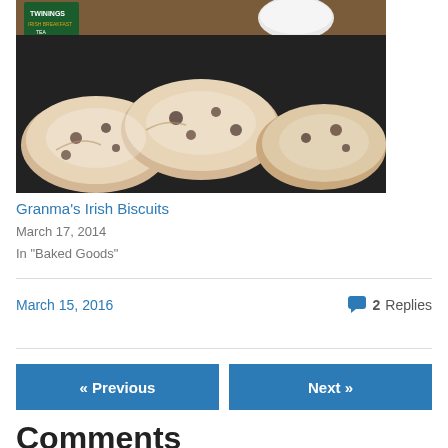[Figure (photo): Photo of Irish biscuits/scones with dried fruit in a dark baking pan, with a Twinings Irish Breakfast Tea box and a white mug visible in the background.]
Granma's Irish Biscuits
March 17, 2014
In "Baked Goods"
March 15, 2016
2 Replies
« Previous
Next »
Comments